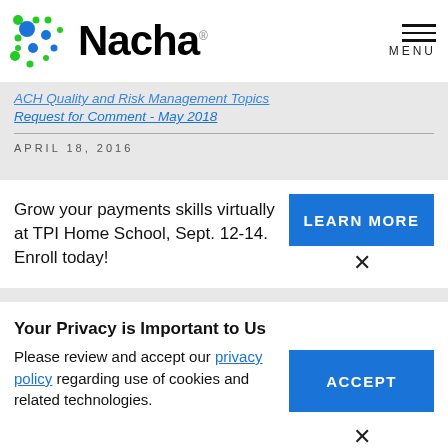[Figure (logo): Nacha logo with colorful dot pattern and wordmark]
MENU
ACH Quality and Risk Management Topics Request for Comment - May 2018
APRIL 18, 2016
Grow your payments skills virtually at TPI Home School, Sept. 12-14. Enroll today!
LEARN MORE
Your Privacy is Important to Us
Please review and accept our privacy policy regarding use of cookies and related technologies.
ACCEPT